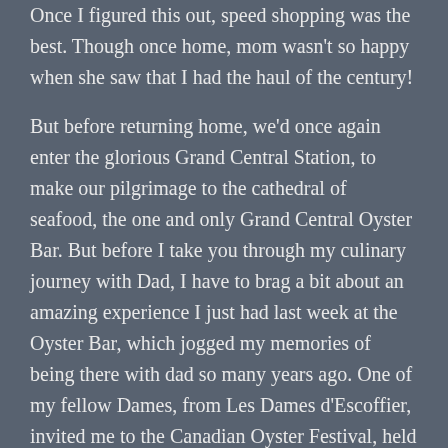Once I figured this out, speed shopping was the best. Though once home, mom wasn't so happy when she saw that I had the haul of the century!
But before returning home, we'd once again enter the glorious Grand Central Station, to make our pilgrimage to the cathedral of seafood, the one and only Grand Central Oyster Bar. But before I take you through my culinary journey with Dad, I have to brag a bit about an amazing experience I just had last week at the Oyster Bar, which jogged my memories of being there with dad so many years ago. One of my fellow Dames, from Les Dames d'Escoffier, invited me to the Canadian Oyster Festival, held there in celebration of the retirement of the Oyster Bar's executive chef, famed Sandy Ingber who after 31 years decided to hang up his oyster knife. I